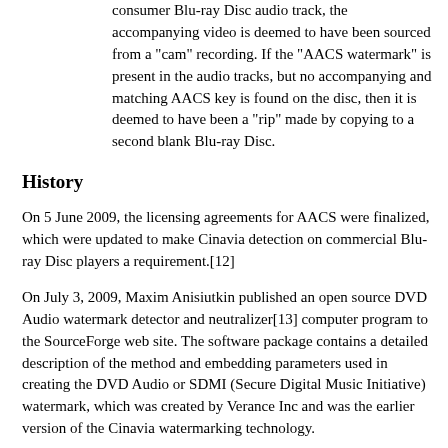consumer Blu-ray Disc audio track, the accompanying video is deemed to have been sourced from a "cam" recording. If the "AACS watermark" is present in the audio tracks, but no accompanying and matching AACS key is found on the disc, then it is deemed to have been a "rip" made by copying to a second blank Blu-ray Disc.
History
On 5 June 2009, the licensing agreements for AACS were finalized, which were updated to make Cinavia detection on commercial Blu-ray Disc players a requirement.[12]
On July 3, 2009, Maxim Anisiutkin published an open source DVD Audio watermark detector and neutralizer[13] computer program to the SourceForge web site. The software package contains a detailed description of the method and embedding parameters used in creating the DVD Audio or SDMI (Secure Digital Music Initiative) watermark, which was created by Verance Inc and was the earlier version of the Cinavia watermarking technology.
From January 2013 onwards, attempts were made by third-party software suppliers to make use of existing bugs and loopholes in Blu-ray Disc players to avoid Cinavia message triggering, but without any attempt being made at precisely removing the Cinavia